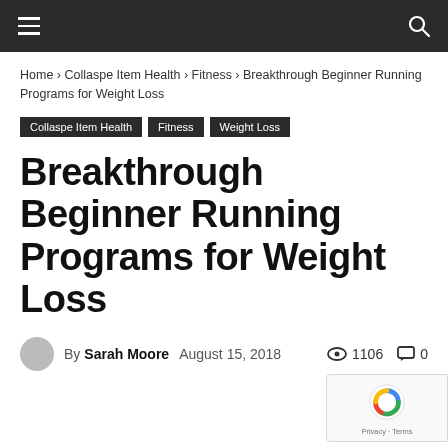≡ [hamburger menu] [search icon]
Home › Collaspe Item Health › Fitness › Breakthrough Beginner Running Programs for Weight Loss
Collaspe Item Health
Fitness
Weight Loss
Breakthrough Beginner Running Programs for Weight Loss
By Sarah Moore   August 15, 2018   👁 1106   💬 0